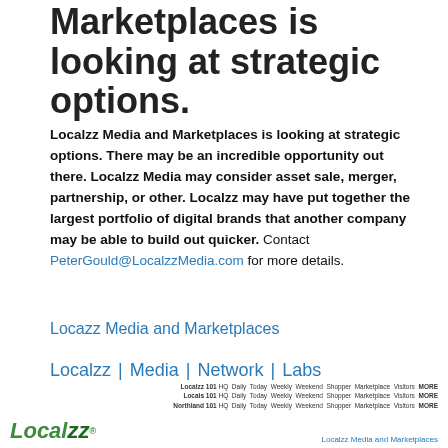Marketplaces is looking at strategic options.
Localzz Media and Marketplaces is looking at strategic options. There may be an incredible opportunity out there. Localzz Media may consider asset sale, merger, partnership, or other. Localzz may have put together the largest portfolio of digital brands that another company may be able to build out quicker. Contact PeterGould@LocalzzMedia.com for more details.
Locazz Media and Marketplaces
Localzz | Media | Network | Labs
Localzz 101 HQ Daily Today Weekly Weekend Shopper Marketplace Visitors MORE
Locals 101 HQ Daily Today Weekly Weekend Shopper Marketplace Visitors MORE
Northland 101 HQ Daily Today Weekly Weekend Shopper Marketplace Visitors MORE
Localzz Media and Marketplaces